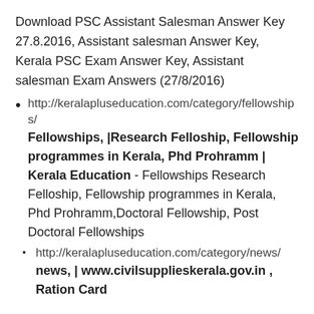Download PSC Assistant Salesman Answer Key 27.8.2016, Assistant salesman Answer Key, Kerala PSC Exam Answer Key, Assistant salesman Exam Answers (27/8/2016)
http://keralapluseducation.com/category/fellowships/ Fellowships, |Research Felloship, Fellowship programmes in Kerala, Phd Prohramm | Kerala Education - Fellowships Research Felloship, Fellowship programmes in Kerala, Phd Prohramm,Doctoral Fellowship, Post Doctoral Fellowships
http://keralapluseducation.com/category/news/ news, | www.civilsupplieskerala.gov.in , Ration Card